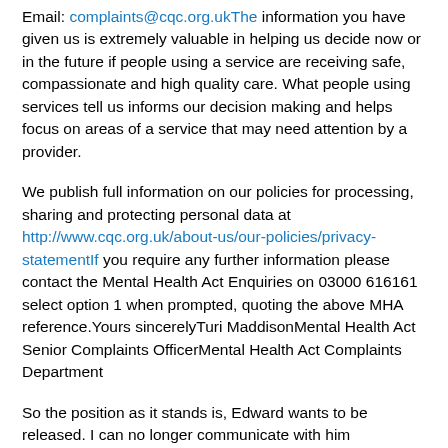Email: complaints@cqc.org.ukThe information you have given us is extremely valuable in helping us decide now or in the future if people using a service are receiving safe, compassionate and high quality care. What people using services tell us informs our decision making and helps focus on areas of a service that may need attention by a provider.
We publish full information on our policies for processing, sharing and protecting personal data at http://www.cqc.org.uk/about-us/our-policies/privacy-statementIf you require any further information please contact the Mental Health Act Enquiries on 03000 616161 select option 1 when prompted, quoting the above MHA reference.Yours sincerelyTuri MaddisonMental Health Act Senior Complaints OfficerMental Health Act Complaints Department
So the position as it stands is, Edward wants to be released. I can no longer communicate with him coherently as he is very sedated and still claiming to be assaulted.
At the Hospital Managers Meeting hearing where the